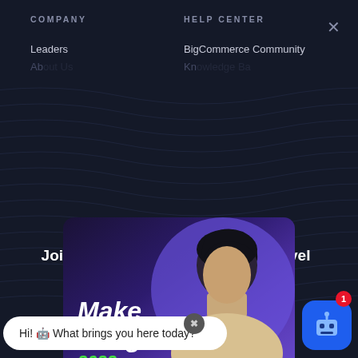COMPANY
HELP CENTER
Leaders
BigCommerce Community
[Figure (screenshot): Make it Big 2022 promotional popup card with a woman's portrait on a purple gradient background]
Join us for Make It Big 2022 and level up your knowledge with future-
Hi! 🤖 What brings you here today?